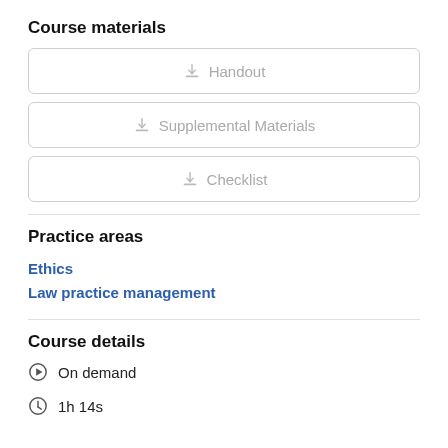Course materials
Handout
Supplemental Materials
Checklist
Practice areas
Ethics
Law practice management
Course details
On demand
1h 14s